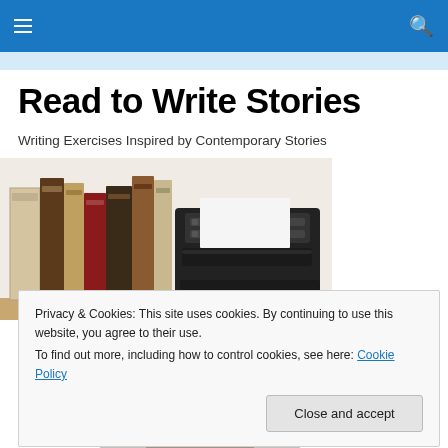Navigation bar with hamburger menu and search icon
Read to Write Stories
Writing Exercises Inspired by Contemporary Stories
[Figure (photo): A row of vintage leather-bound books standing upright next to a vintage black typewriter on a wooden surface, against a white background.]
Privacy & Cookies: This site uses cookies. By continuing to use this website, you agree to their use.
To find out more, including how to control cookies, see here: Cookie Policy
Close and accept
[Figure (photo): Partial photo at bottom of page showing the top of a person's head.]